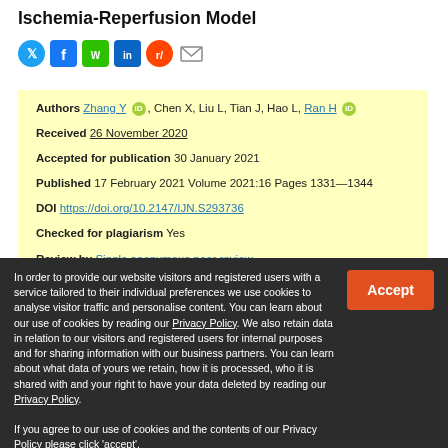Ischemia-Reperfusion Model
[Figure (other): Social sharing icons: Twitter, Facebook, WeChat, LinkedIn, Reddit, Email]
Authors Zhang Y, Chen X, Liu L, Tian J, Hao L, Ran H
Received 26 November 2020
Accepted for publication 30 January 2021
Published 17 February 2021 Volume 2021:16 Pages 1331—1344
DOI https://doi.org/10.2147/IJN.S293736
Checked for plagiarism Yes
Review by Single anonymous peer review
In order to provide our website visitors and registered users with a service tailored to their individual preferences we use cookies to analyse visitor traffic and personalise content. You can learn about our use of cookies by reading our Privacy Policy. We also retain data in relation to our visitors and registered users for internal purposes and for sharing information with our business partners. You can learn about what data of yours we retain, how it is processed, who it is shared with and your right to have your data deleted by reading our Privacy Policy.
If you agree to our use of cookies and the contents of our Privacy Policy please click 'accept'.